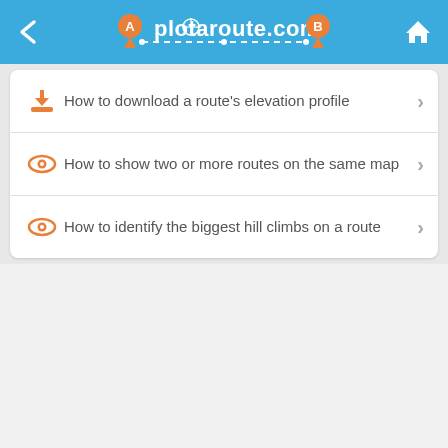plotaroute.com
How to download a route's elevation profile
How to show two or more routes on the same map
How to identify the biggest hill climbs on a route